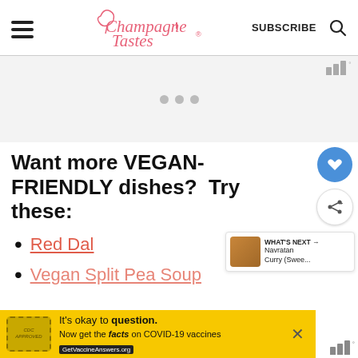ChampagneTastes® SUBSCRIBE
[Figure (other): Advertisement placeholder area with three dots, Mediavine badge in top right]
Want more VEGAN-FRIENDLY dishes?  Try these:
Red Dal
Vegan Split Pea Soup
[Figure (other): What's Next widget showing Navratan Curry (Swee... with thumbnail image]
[Figure (other): Bottom advertisement banner: It's okay to question. Now get the facts on COVID-19 vaccines. GetVaccineAnswers.org. Yellow background with stamp graphic.]